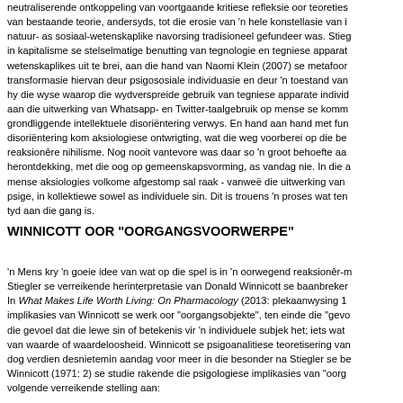neutraliserende ontkoppeling van voortgaande kritiese refleksie oor teoreties van bestaande teorie, andersyds, tot die erosie van 'n hele konstellasie van i natuur- as sosiaal-wetenskaplike navorsing tradisioneel gefundeer was. Stieg in kapitalisme se stelselmatige benutting van tegnologie en tegniese apparat wetenskaplikes uit te brei, aan die hand van Naomi Klein (2007) se metafoor transformasie hiervan deur psigososiale individuasie en deur 'n toestand van hy die wyse waarop die wydverspreide gebruik van tegniese apparate individ aan die uitwerking van Whatsapp- en Twitter-taalgebruik op mense se komm grondliggende intellektuele disoriëntering verwys. En hand aan hand met fun disoriëntering kom aksiologiese ontwrigting, wat die weg voorberei op die be reaksionêre nihilisme. Nog nooit vantevore was daar so 'n groot behoefte aa herontdekking, met die oog op gemeenskapsvorming, as vandag nie. In die a mense aksiologies volkome afgestomp sal raak - vanweë die uitwerking van psige, in kollektiewe sowel as individuele sin. Dit is trouens 'n proses wat ten tyd aan die gang is.
WINNICOTT OOR "OORGANGSVOORWERPE"
'n Mens kry 'n goeie idee van wat op die spel is in 'n oorwegend reaksionêr-m Stiegler se verreikende herinterpretasie van Donald Winnicott se baanbreker In What Makes Life Worth Living: On Pharmacology (2013: plekaanwysing 1 implikasies van Winnicott se werk oor "oorgangsobjekte", ten einde die "gevo die gevoel dat die lewe sin of betekenis vir 'n individuele subjek het; iets wat van waarde of waardeloosheid. Winnicott se psigoanalitiese teoretisering van dog verdien desnietemin aandag voor meer in die besonder na Stiegler se be Winnicott (1971: 2) se studie rakende die psigologiese implikasies van "oorg volgende verreikende stelling aan: